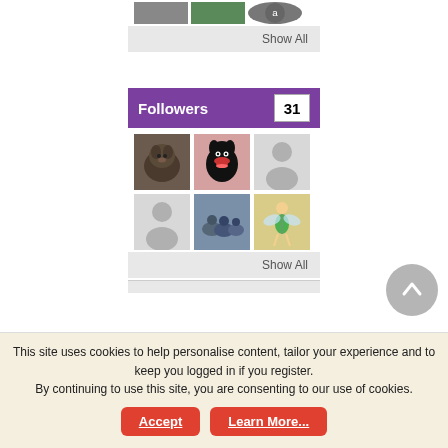[Figure (screenshot): Top thumbnail row with three small images (animal/product photos) partially visible at top]
Show All
Followers 31
[Figure (screenshot): Grid of 6 follower avatar thumbnails: row 1 has a shaggy animal, a black dog with open mouth, and a generic silhouette placeholder; row 2 has a generic silhouette placeholder, a group of ducks/birds, and a fairy/Tinkerbell cartoon character]
Show All
This site uses cookies to help personalise content, tailor your experience and to keep you logged in if you register.
By continuing to use this site, you are consenting to our use of cookies.
Accept
Learn More...